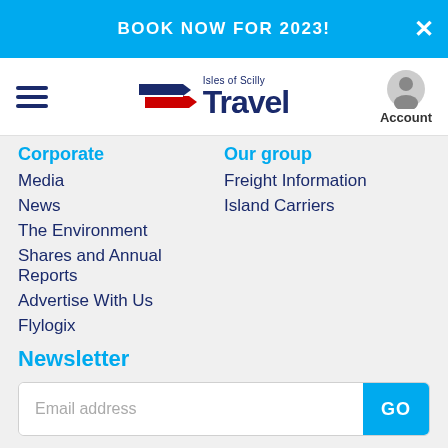BOOK NOW FOR 2023!
[Figure (logo): Isles of Scilly Travel logo with stylized flag and navy/blue text]
Corporate
Media
News
The Environment
Shares and Annual Reports
Advertise With Us
Flylogix
Our group
Freight Information
Island Carriers
Newsletter
Email address
Info and offers @IOSTravel
Latest updates @IOSTravelUpdate